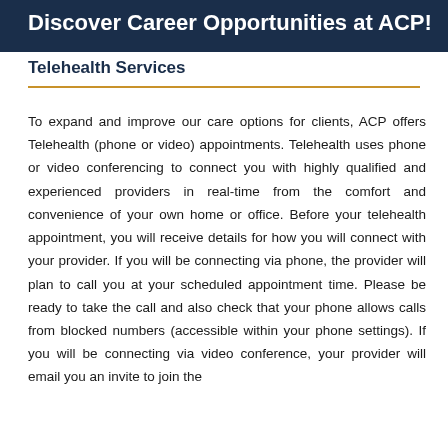Discover Career Opportunities at ACP!
Telehealth Services
To expand and improve our care options for clients, ACP offers Telehealth (phone or video) appointments. Telehealth uses phone or video conferencing to connect you with highly qualified and experienced providers in real-time from the comfort and convenience of your own home or office. Before your telehealth appointment, you will receive details for how you will connect with your provider. If you will be connecting via phone, the provider will plan to call you at your scheduled appointment time. Please be ready to take the call and also check that your phone allows calls from blocked numbers (accessible within your phone settings). If you will be connecting via video conference, your provider will email you an invite to join the